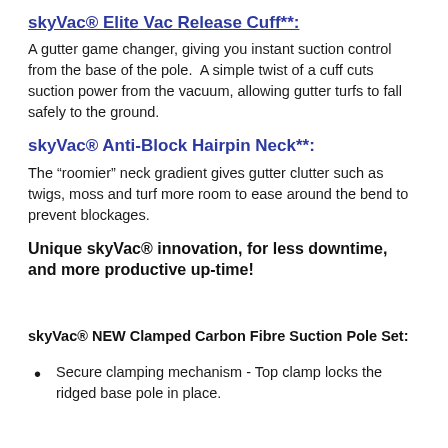skyVac® Elite Vac Release Cuff**:
A gutter game changer, giving you instant suction control from the base of the pole.  A simple twist of a cuff cuts suction power from the vacuum, allowing gutter turfs to fall safely to the ground.
skyVac® Anti-Block Hairpin Neck**:
The “roomier” neck gradient gives gutter clutter such as twigs, moss and turf more room to ease around the bend to prevent blockages.
Unique skyVac® innovation, for less downtime, and more productive up-time!
skyVac® NEW Clamped Carbon Fibre Suction Pole Set:
Secure clamping mechanism - Top clamp locks the ridged base pole in place.